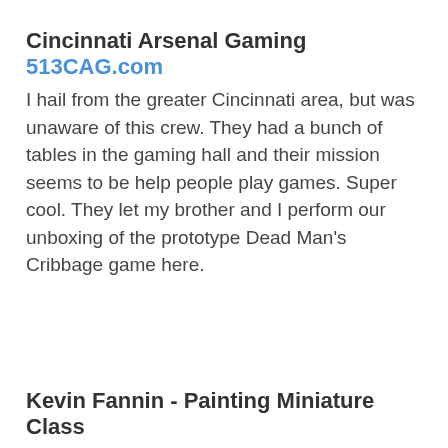Cincinnati Arsenal Gaming 513CAG.com
I hail from the greater Cincinnati area, but was unaware of this crew. They had a bunch of tables in the gaming hall and their mission seems to be help people play games. Super cool. They let my brother and I perform our unboxing of the prototype Dead Man's Cribbage game here.
Kevin Fannin - Painting Miniature Class